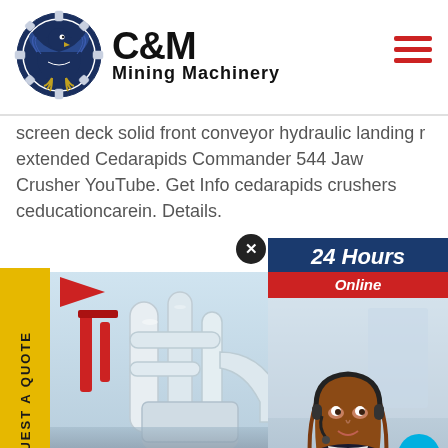[Figure (logo): C&M Mining Machinery logo with circular gear/eagle emblem in dark navy blue, company name in bold black text]
screen deck solid front conveyor hydraulic landing r extended Cedarapids Commander 544 Jaw Crusher YouTube. Get Info cedarapids crushers ceducationcarein. Details.
[Figure (photo): Industrial mining machinery photo showing white/grey pipes and equipment in a factory setting]
[Figure (infographic): 24 Hours Online chat widget showing a customer service agent wearing headset with chat bubble, Click to Chat and Enquiry buttons at bottom]